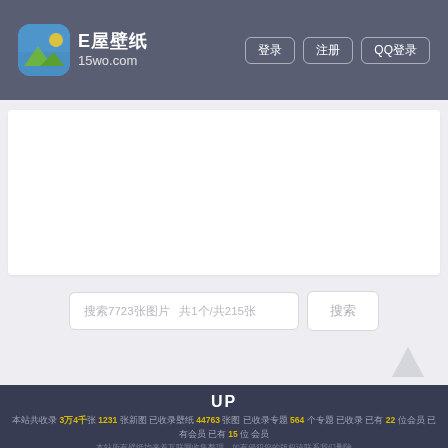E屋壁纸 15wo.com | 登录 | 注册 | QQ登录
[Figure (other): White content card area placeholder]
搜索7723张图片  共1个/共215张
搜索
UP 本站共收录 3万4千张 1231 张新图 已收录壁纸 44763 张图 已收录专题 564 个专题 已收录 已有 22 位会员 已有会员 已有 15 位 会员 本站所有壁纸均来着互联网收集整理，如有侵犯您的版权请联系我们删除 如若转载，请注明出处：https://www.15wo.com 版权疑问联系邮件：yvsm$zunyunkeji.com($替换@)，我们将尽快处理 Copyright © 2018-2022 www.15wo.com All Rights Reserved. 粤ICP备16002142号